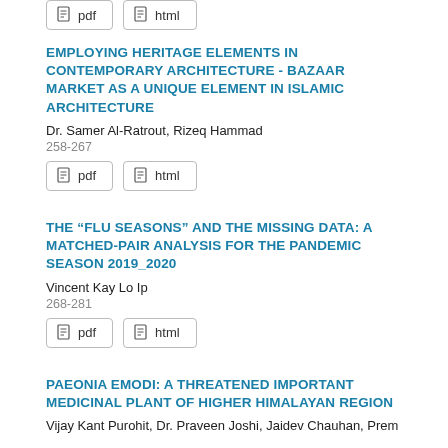pdf  html (buttons at top, truncated from previous entry)
EMPLOYING HERITAGE ELEMENTS IN CONTEMPORARY ARCHITECTURE - BAZAAR MARKET AS A UNIQUE ELEMENT IN ISLAMIC ARCHITECTURE
Dr. Samer Al-Ratrout, Rizeq Hammad
258-267
pdf  html (buttons)
THE “FLU SEASONS” AND THE MISSING DATA: A MATCHED-PAIR ANALYSIS FOR THE PANDEMIC SEASON 2019_2020
Vincent Kay Lo Ip
268-281
pdf  html (buttons)
PAEONIA EMODI: A THREATENED IMPORTANT MEDICINAL PLANT OF HIGHER HIMALAYAN REGION
Vijay Kant Purohit, Dr. Praveen Joshi, Jaidev Chauhan, Prem